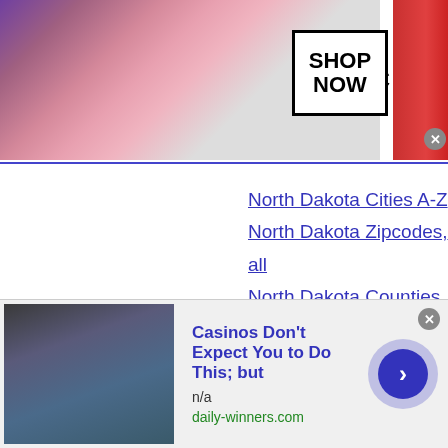[Figure (photo): MAC cosmetics banner advertisement showing lipsticks in purple, pink, red colors with MAC logo and SHOP NOW button]
North Dakota Cities A-Z
North Dakota Zipcodes, all
North Dakota Counties, A-Z
Economy Metrics Ranked:
North Dakota Rankings
All State Rankings
Top 100 US Cities Ranked
Search All US:
[Figure (photo): Bottom advertisement: Casinos Don't Expect You to Do This; but — from daily-winners.com, showing a person in blue shirt]